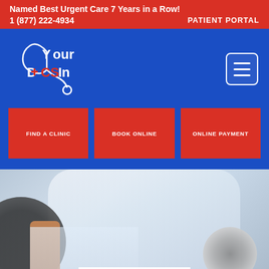Named Best Urgent Care 7 Years in a Row!
1 (877) 222-4934
PATIENT PORTAL
[Figure (logo): YourDocsIn logo with stethoscope icon, white and red text on blue background]
FIND A CLINIC
BOOK ONLINE
ONLINE PAYMENT
[Figure (photo): Blurred photo of a doctor in white coat holding a stethoscope with a blood pressure gauge visible]
PHYSICALS